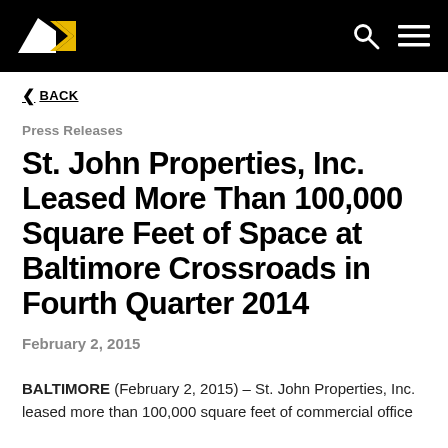[Figure (logo): St. John Properties logo in black navigation bar with white/yellow geometric shape, plus search and menu icons]
< BACK
Press Releases
St. John Properties, Inc. Leased More Than 100,000 Square Feet of Space at Baltimore Crossroads in Fourth Quarter 2014
February 2, 2015
BALTIMORE (February 2, 2015) – St. John Properties, Inc. leased more than 100,000 square feet of commercial office